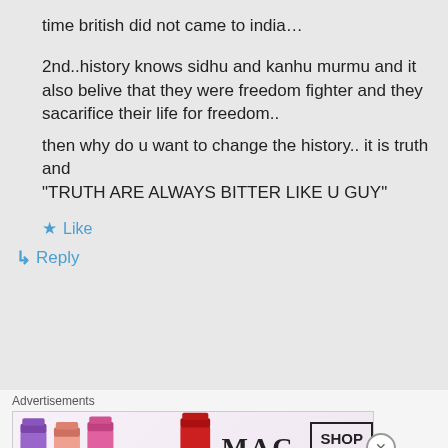time british did not came to india…
2nd..history knows sidhu and kanhu murmu and it also belive that they were freedom fighter and they sacarifice their life for freedom..
then why do u want to change the history.. it is truth and
“TRUTH ARE ALWAYS BITTER LIKE U GUY”
★ Like
↳ Reply
Advertisements
[Figure (infographic): MAC cosmetics advertisement banner showing colorful lipsticks on the left, MAC logo in the center, and a SHOP NOW box on the right]